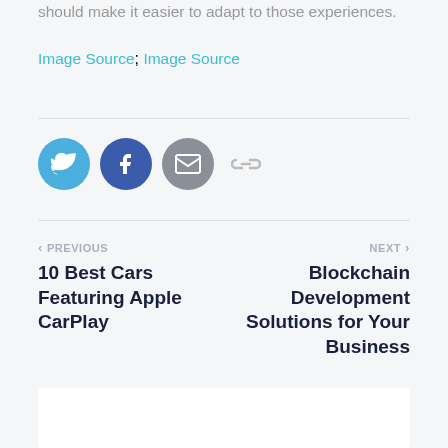should make it easier to adapt to those experiences.
Image Source; Image Source
[Figure (other): Social share icons: Twitter (blue circle), Facebook (dark blue circle), Email (gray circle), and a chain/link icon]
< PREVIOUS
10 Best Cars Featuring Apple CarPlay
NEXT >
Blockchain Development Solutions for Your Business